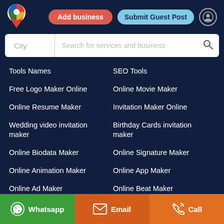[Figure (logo): Google Maps-style pin logo in red, blue, yellow, green]
Add business
Submit Guest Post
City
Search for services and business
Tools Names
SEO Tools
Free Logo Maker Online
Online Movie Maker
Online Resume Maker
Invitation Maker Online
Wedding video invitation maker
Birthday Cards invitation maker
Online Biodata Maker
Online Signature Maker
Online Animation Maker
Online App Maker
Online Ad Maker
Online Beat Maker
Online Brochure Maker
Online Certificate Maker
Whatsapp
Email
Call